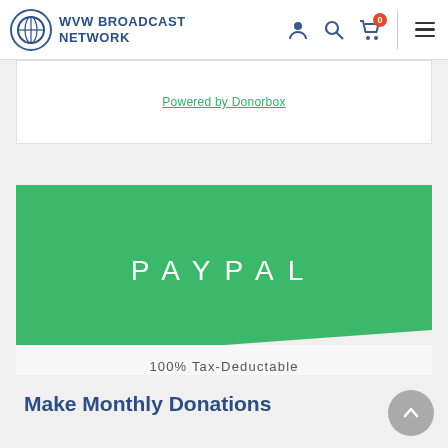WVW BROADCAST NETWORK
Powered by Donorbox
[Figure (other): Green PayPal donation section with diagonal bottom cut, showing 'PAYPAL' text in white]
100% Tax-Deductable
Make Monthly Donations